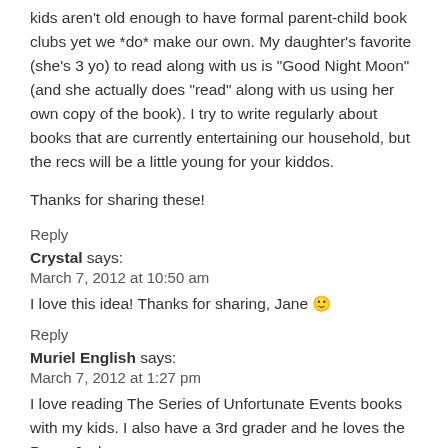kids aren't old enough to have formal parent-child book clubs yet we *do* make our own. My daughter's favorite (she's 3 yo) to read along with us is "Good Night Moon" (and she actually does "read" along with us using her own copy of the book). I try to write regularly about books that are currently entertaining our household, but the recs will be a little young for your kiddos.
Thanks for sharing these!
Reply
Crystal says:
March 7, 2012 at 10:50 am
I love this idea! Thanks for sharing, Jane 🙂
Reply
Muriel English says:
March 7, 2012 at 1:27 pm
I love reading The Series of Unfortunate Events books with my kids. I also have a 3rd grader and he loves the Percy Jackson